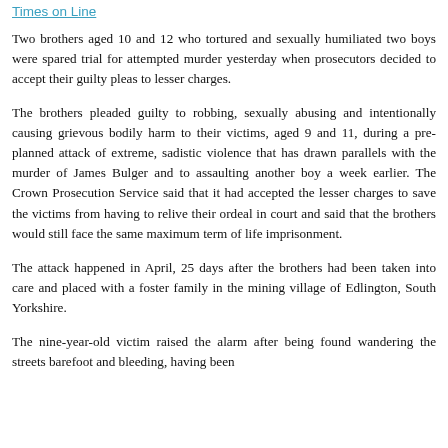Times on Line
Two brothers aged 10 and 12 who tortured and sexually humiliated two boys were spared trial for attempted murder yesterday when prosecutors decided to accept their guilty pleas to lesser charges.
The brothers pleaded guilty to robbing, sexually abusing and intentionally causing grievous bodily harm to their victims, aged 9 and 11, during a pre-planned attack of extreme, sadistic violence that has drawn parallels with the murder of James Bulger and to assaulting another boy a week earlier. The Crown Prosecution Service said that it had accepted the lesser charges to save the victims from having to relive their ordeal in court and said that the brothers would still face the same maximum term of life imprisonment.
The attack happened in April, 25 days after the brothers had been taken into care and placed with a foster family in the mining village of Edlington, South Yorkshire.
The nine-year-old victim raised the alarm after being found wandering the streets barefoot and bleeding, having been